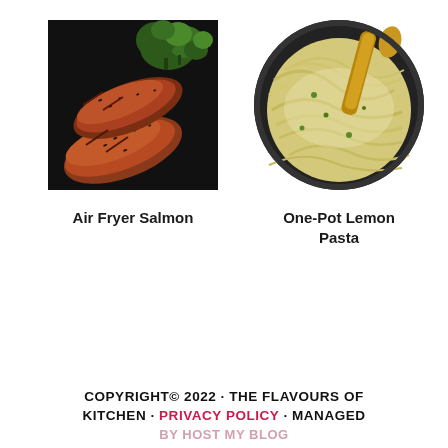[Figure (photo): Photo of two seasoned salmon fillets with broccoli on a dark plate - Air Fryer Salmon]
Air Fryer Salmon
[Figure (photo): Photo of creamy lemon pasta with wooden spoon in a dark bowl - One-Pot Lemon Pasta]
One-Pot Lemon Pasta
COPYRIGHT© 2022 · THE FLAVOURS OF KITCHEN · PRIVACY POLICY · MANAGED BY HOST MY BLOG